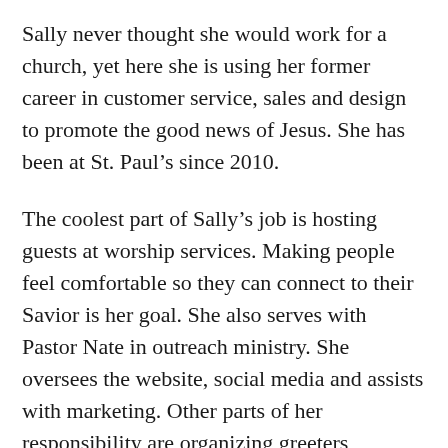Sally never thought she would work for a church, yet here she is using her former career in customer service, sales and design to promote the good news of Jesus. She has been at St. Paul’s since 2010.
The coolest part of Sally’s job is hosting guests at worship services. Making people feel comfortable so they can connect to their Savior is her goal. She also serves with Pastor Nate in outreach ministry. She oversees the website, social media and assists with marketing. Other parts of her responsibility are organizing greeters, overseeing facility rentals, and making guest follow–ups.
She keeps a pulse on community needs by being involved with Muskego organizations and businesses. In this way she can connect resources at St. Paul’s to residents in need, meeting people where they are. Through these